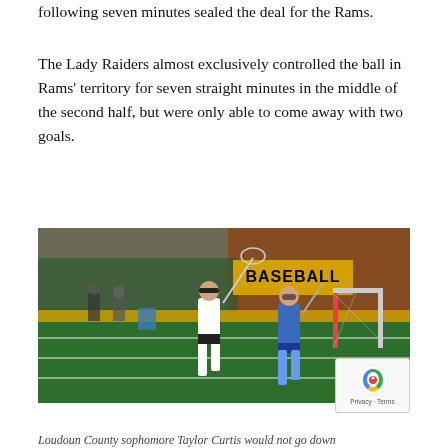following seven minutes sealed the deal for the Rams.
The Lady Raiders almost exclusively controlled the ball in Rams' territory for seven straight minutes in the middle of the second half, but were only able to come away with two goals.
[Figure (photo): Two lacrosse players on a green turf field. One player in white uniform holds a lacrosse stick, another in blue uniform is defending. A lacrosse goal is visible in the background along with a sign reading 'BASEBALL'. A reCAPTCHA badge overlays the bottom right corner.]
Loudoun County sophomore Taylor Curtis would not go down